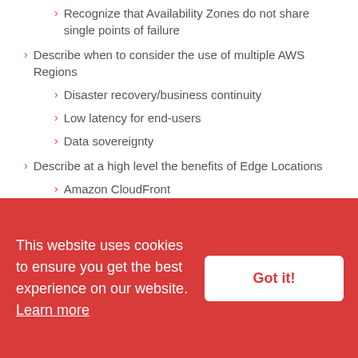Recognize that Availability Zones do not share single points of failure
Describe when to consider the use of multiple AWS Regions
Disaster recovery/business continuity
Low latency for end-users
Data sovereignty
Describe at a high level the benefits of Edge Locations
Amazon CloudFront
AWS Global Accelerator
3.3 Identify the core AWS services
Describe the categories of services on AWS (compute
This website uses cookies to ensure you get the best experience on our website. Learn more
Got it!
compute (for example, AWS Lambda compared to